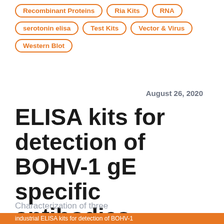Recombinant Proteins
Ria Kits
RNA
serotonin elisa
Test Kits
Vector & Virus
Western Blot
August 26, 2020
ELISA kits for detection of BOHV-1 gE specific antibodies
Characterization of three
industrial ELISA kits for detection of BOHV-1